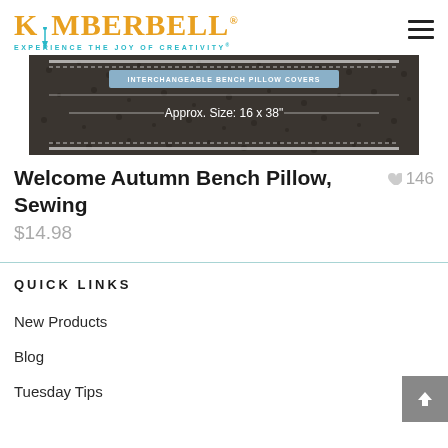KIMBERBELL - EXPERIENCE THE JOY OF CREATIVITY®
[Figure (photo): Product image of a bench pillow cover showing dark fabric with a label reading 'INTERCHANGEABLE BENCH PILLOW COVERS' and 'Approx. Size: 16 x 38"']
Welcome Autumn Bench Pillow, Sewing
♥ 146
$14.98
QUICK LINKS
New Products
Blog
Tuesday Tips